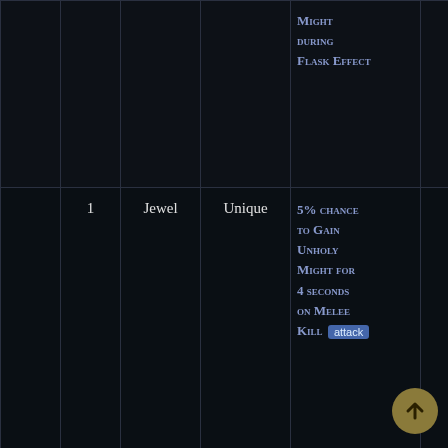|  |  |  |  | Effect |  |
| --- | --- | --- | --- | --- | --- |
|  |  |  |  | Might during Flask Effect |  |
|  | 1 | Jewel | Unique | 5% chance to Gain Unholy Might for 4 seconds on Melee Kill [attack] |  |
|  | 1 | Jewel | Unique | With at least 40 Dexterity in Radius, Viper Strike has a 10% chance per |  |